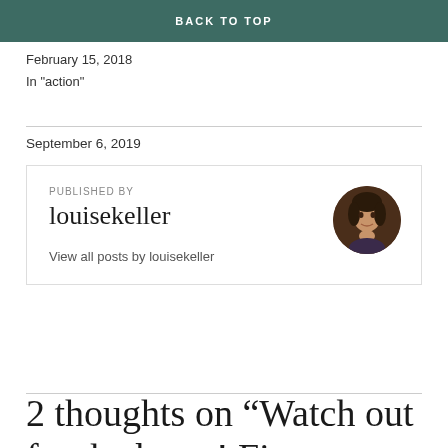How rewards sabotage your goals
BACK TO TOP
February 15, 2018
In "action"
September 6, 2019
PUBLISHED BY
louisekeller

View all posts by louisekeller
[Figure (photo): Circular avatar photo of a woman with dark hair]
2 thoughts on “Watch out for the boats! Five